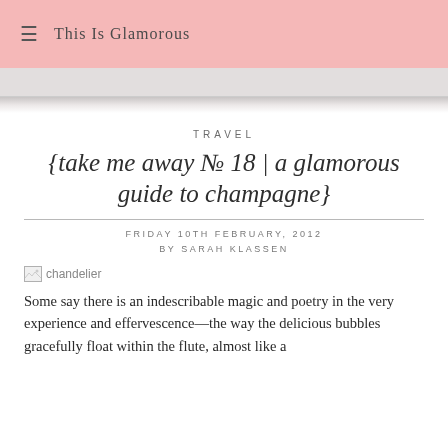≡ This Is Glamorous
TRAVEL
{take me away № 18 | a glamorous guide to champagne}
FRIDAY 10TH FEBRUARY, 2012
BY SARAH KLASSEN
[Figure (photo): Broken image placeholder labeled 'chandelier']
Some say there is an indescribable magic and poetry in the very experience and effervescence—the way the delicious bubbles gracefully float within the flute, almost like a